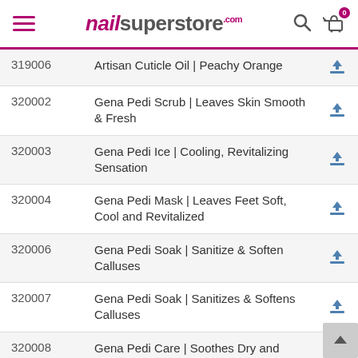nailsuperstore.com
| SKU | Product Name | Download |
| --- | --- | --- |
| 319006 | Artisan Cuticle Oil | Peachy Orange | ↓ |
| 320002 | Gena Pedi Scrub | Leaves Skin Smooth & Fresh | ↓ |
| 320003 | Gena Pedi Ice | Cooling, Revitalizing Sensation | ↓ |
| 320004 | Gena Pedi Mask | Leaves Feet Soft, Cool and Revitalized | ↓ |
| 320006 | Gena Pedi Soak | Sanitize & Soften Calluses | ↓ |
| 320007 | Gena Pedi Soak | Sanitizes & Softens Calluses | ↓ |
| 320008 | Gena Pedi Care | Soothes Dry and Rough Skin | ↓ |
| 320009 | Gena Pedi Care | Gently Smooth Away Dry Skin | ↓ |